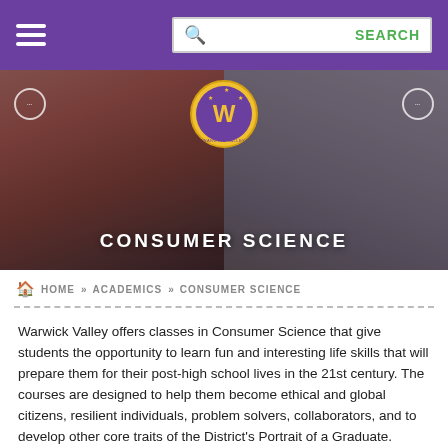Navigation header with hamburger menu and search bar
[Figure (photo): Hero banner showing two students working in a Consumer Science class, with Warwick Valley school logo badge in center]
CONSUMER SCIENCE
HOME » ACADEMICS » CONSUMER SCIENCE
Warwick Valley offers classes in Consumer Science that give students the opportunity to learn fun and interesting life skills that will prepare them for their post-high school lives in the 21st century. The courses are designed to help them become ethical and global citizens, resilient individuals, problem solvers, collaborators, and to develop other core traits of the District's Portrait of a Graduate. Courses in Consumer Science provide students with basic skills necessary to navigate today's ever-evolving and enjoy the lifelong benefits that come with being a responsible family member, and contributor to society. The District's course